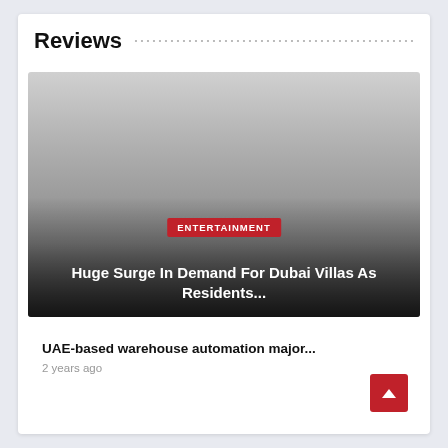Reviews
[Figure (photo): Dark gradient image card for an entertainment article about Dubai Villas, with ENTERTAINMENT badge and headline overlay]
Huge Surge In Demand For Dubai Villas As Residents...
UAE-based warehouse automation major...
2 years ago